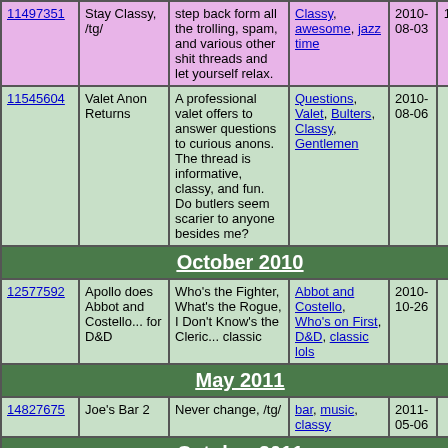| ID | Name | Description | Tags | Date | # |  |
| --- | --- | --- | --- | --- | --- | --- |
| 11497351 | Stay Classy, /tg/ | step back form all the trolling, spam, and various other shit threads and let yourself relax. | Classy, awesome, jazz time | 2010-08-03 | 14 |  |
| 11545604 | Valet Anon Returns | A professional valet offers to answer questions to curious anons. The thread is informative, classy, and fun. Do butlers seem scarier to anyone besides me? | Questions, Valet, Bulters, Classy, Gentlemen | 2010-08-06 | 7 |  |
| October 2010 |
| 12577592 | Apollo does Abbot and Costello... for D&D | Who's the Fighter, What's the Rogue, I Don't Know's the Cleric... classic | Abbot and Costello, Who's on First, D&D, classic lols | 2010-10-26 | 5 |  |
| May 2011 |
| 14827675 | Joe's Bar 2 | Never change, /tg/ | bar, music, classy | 2011-05-06 | 6 |  |
| October 2011 |